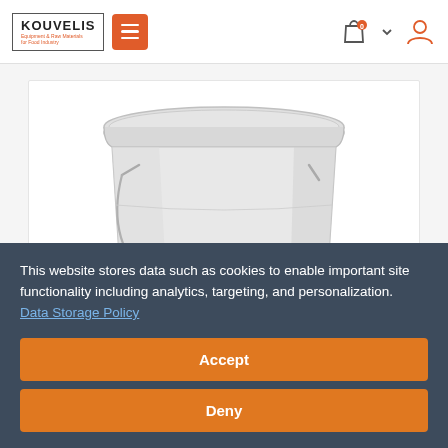KOUVELIS Equipment & Raw Materials for Food Industry — navigation header with hamburger menu, shopping bag icon with 0, chevron, and user icon
[Figure (photo): White plastic bucket/pail with metal handle and lid, shown on white background]
This website stores data such as cookies to enable important site functionality including analytics, targeting, and personalization.  Data Storage Policy
Accept
Deny